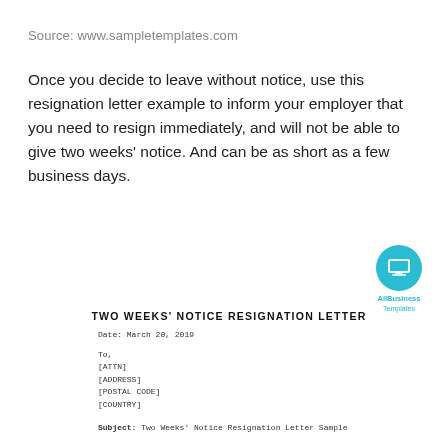Source: www.sampletemplates.com
Once you decide to leave without notice, use this resignation letter example to inform your employer that you need to resign immediately, and will not be able to give two weeks' notice. And can be as short as a few business days.
[Figure (logo): AllBusiness Templates logo - teal circle with laptop icon, text 'AllBusiness Templates' below]
TWO WEEKS' NOTICE RESIGNATION LETTER
Date: March 20, 2019
To,
[ATTN]
[ADDRESS]
[POSTAL CODE]
[COUNTRY]
Subject: Two Weeks' Notice Resignation Letter Sample
To Whom It May Concern / Dear Mr.,Mrs.,